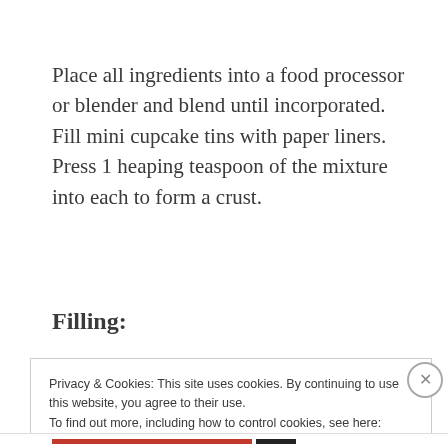Place all ingredients into a food processor or blender and blend until incorporated.  Fill mini cupcake tins with paper liners.  Press 1 heaping teaspoon of the mixture into each to form a crust.
Filling:
Privacy & Cookies: This site uses cookies. By continuing to use this website, you agree to their use.
To find out more, including how to control cookies, see here:
Cookie Policy
Close and accept